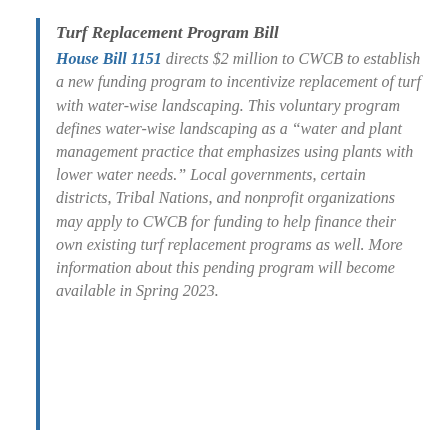Turf Replacement Program Bill
House Bill 1151 directs $2 million to CWCB to establish a new funding program to incentivize replacement of turf with water-wise landscaping. This voluntary program defines water-wise landscaping as a “water and plant management practice that emphasizes using plants with lower water needs.” Local governments, certain districts, Tribal Nations, and nonprofit organizations may apply to CWCB for funding to help finance their own existing turf replacement programs as well. More information about this pending program will become available in Spring 2023.